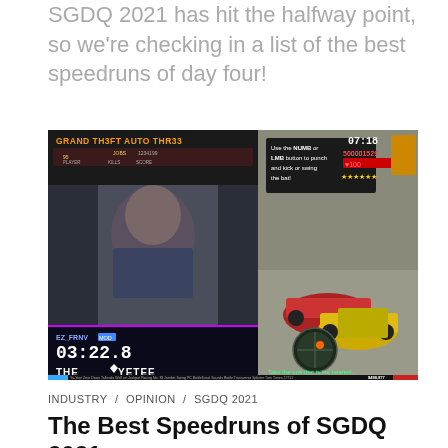SGDQ 2021 has hit the halfway point, so we're checking in a list of the best speedruns of day four!
[Figure (screenshot): Screenshot of a Grand Theft Auto III speedrun at SGDQ 2021, showing gameplay with a red car and yellow taxi, a timer overlay reading 03:22.8, a webcam view of the runner, 'THE YETEE' logo, and game UI elements including score 500001529, health 100, and a wanted level. Text box reads 'Use the NUMB or LMB button to punch and kick or swing the bat!']
INDUSTRY   OPINION   SGDQ 2021
The Best Speedruns of SGDQ 2021